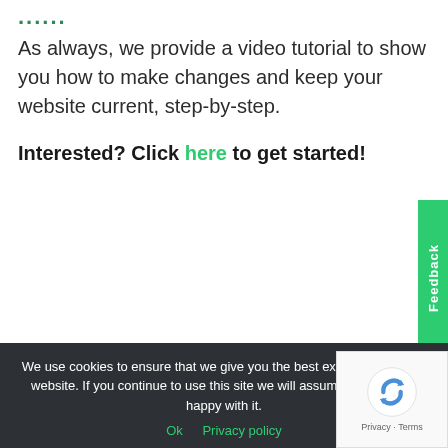......
As always, we provide a video tutorial to show you how to make changes and keep your website current, step-by-step.
Interested? Click here to get started!
Share this:
We use cookies to ensure that we give you the best experience on our website. If you continue to use this site we will assume that you are happy with it.
Ok   Privacy policy